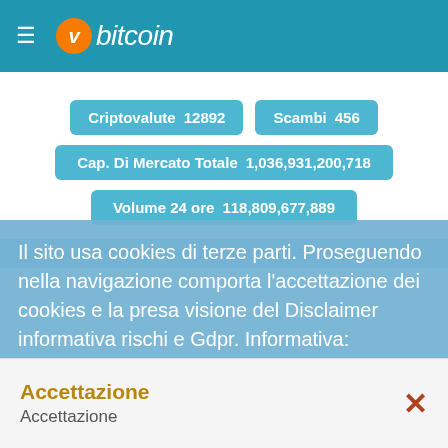vbitcoin
Criptovalute  12892   Scambi  456
Cap. Di Mercato Totale  1,036,931,200,718
Volume 24 ore  118,809,677,889
Dominanza  BTC 37.61%  ETH 18.40%  USDT 6.52%  USDC 5.03%
Il sito usa cookies di terze parti. Proseguendo nella navigazione comporta l'accettazione dei cookies e la presa visione del Disclaimer informativa rischi e Gdpr. Informativa: DISCLAIMER - EU COOKIES - GDPR
GUARDA ANCHE
1. IL VALORE DEI BITCOIN OGGI
2. COME FARE TRADING CON LE CRIPTOVALUTE
Accettazione
Accettazione